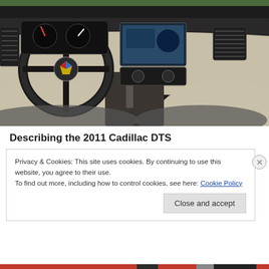[Figure (photo): Interior photo of a 2011 Cadillac DTS showing the dashboard, steering wheel with Cadillac emblem, center console with infotainment screen, gear shifter, and cream/beige leather seats.]
Describing the 2011 Cadillac DTS
Privacy & Cookies: This site uses cookies. By continuing to use this website, you agree to their use.
To find out more, including how to control cookies, see here: Cookie Policy